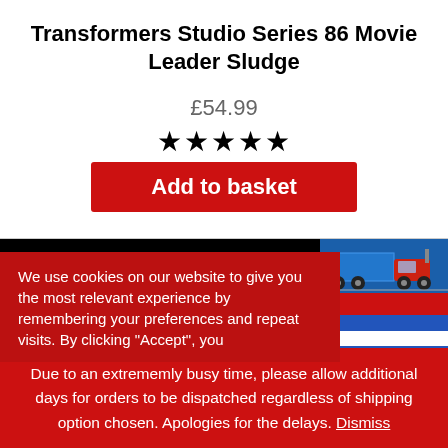Transformers Studio Series 86 Movie Leader Sludge
£54.99
★★★★★
Add to basket
[Figure (infographic): Black banner with white bold text: FREE Shipping on UK orders over £50, with a blue/red semi-truck illustration on the right]
We use cookies on our website to give you the most relevant experience by remembering your preferences and repeat visits. By clicking "Accept", you
OK PAGE
Due to an extrememly busy time, please allow additional days for orders to be dispatched regardless of shipping option chosen. Apologies for the delays. Dismiss